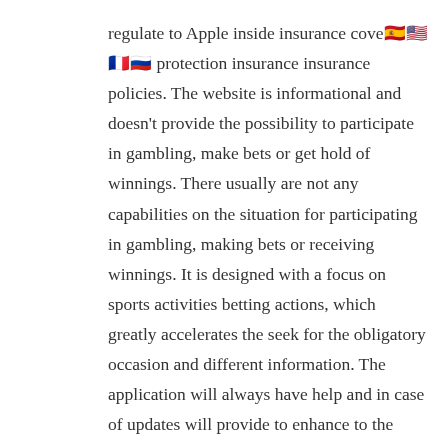regulate to Apple inside insurance cover protection insurance insurance policies. The website is informational and doesn't provide the possibility to participate in gambling, make bets or get hold of winnings. There usually are not any capabilities on the situation for participating in gambling, making bets or receiving winnings. It is designed with a focus on sports activities betting actions, which greatly accelerates the seek for the obligatory occasion and different information. The application will always have help and in case of updates will provide to enhance to the most recent version. However, one of the best half is both have stay video game players can participate in.